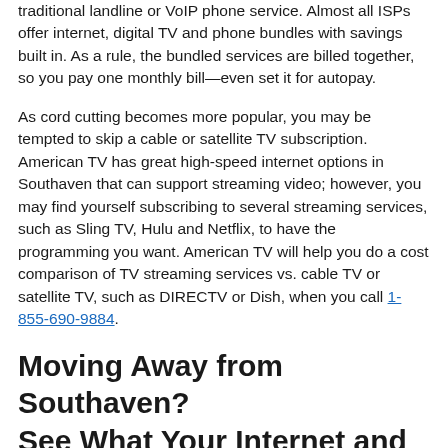traditional landline or VoIP phone service. Almost all ISPs offer internet, digital TV and phone bundles with savings built in. As a rule, the bundled services are billed together, so you pay one monthly bill—even set it for autopay.
As cord cutting becomes more popular, you may be tempted to skip a cable or satellite TV subscription. American TV has great high-speed internet options in Southaven that can support streaming video; however, you may find yourself subscribing to several streaming services, such as Sling TV, Hulu and Netflix, to have the programming you want. American TV will help you do a cost comparison of TV streaming services vs. cable TV or satellite TV, such as DIRECTV or Dish, when you call 1-855-690-9884.
Moving Away from Southaven? See What Your Internet and TV